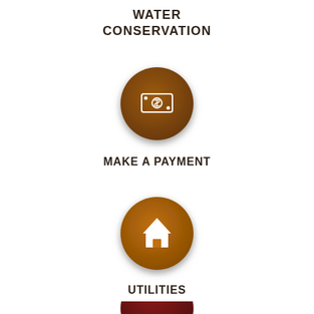WATER CONSERVATION
[Figure (infographic): Brown circle icon with a dollar bill/money icon representing Make a Payment]
MAKE A PAYMENT
[Figure (infographic): Orange-brown circle icon with a house/home icon representing Utilities]
UTILITIES
[Figure (infographic): Dark red/maroon circle icon partially visible at bottom of page]